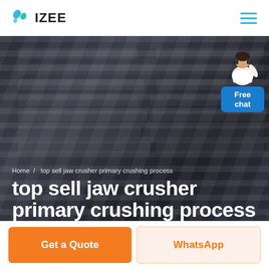IZEE
[Figure (screenshot): Dark industrial hero image showing jaw crusher machinery with layered/ribbed metal components, dark blue-grey overlay. Breadcrumb navigation: Home / top sell jaw crusher primary crushing process. Large white bold title: top sell jaw crusher primary crushing process. Blue 'Free chat' widget with customer service person in top right corner.]
Home / top sell jaw crusher primary crushing process
top sell jaw crusher primary crushing process
Get a Quote
WhatsApp